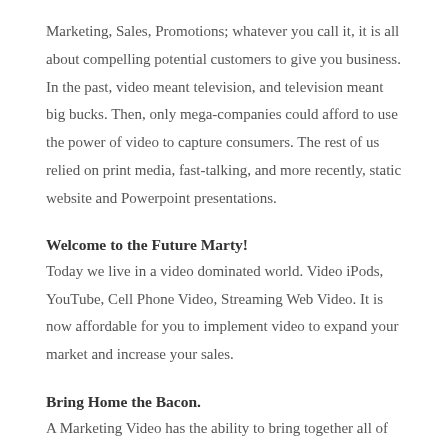Marketing, Sales, Promotions; whatever you call it, it is all about compelling potential customers to give you business. In the past, video meant television, and television meant big bucks. Then, only mega-companies could afford to use the power of video to capture consumers. The rest of us relied on print media, fast-talking, and more recently, static website and Powerpoint presentations.
Welcome to the Future Marty!
Today we live in a video dominated world. Video iPods, YouTube, Cell Phone Video, Streaming Web Video. It is now affordable for you to implement video to expand your market and increase your sales.
Bring Home the Bacon.
A Marketing Video has the ability to bring together all of the elements needed to make a compelling bid for your...